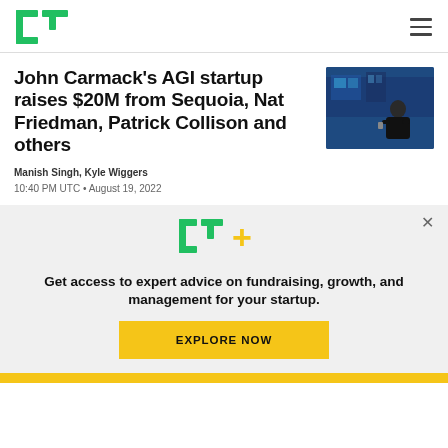TechCrunch
John Carmack's AGI startup raises $20M from Sequoia, Nat Friedman, Patrick Collison and others
[Figure (photo): Photo of John Carmack speaking on stage against a blue-lit background]
Manish Singh, Kyle Wiggers
10:40 PM UTC • August 19, 2022
[Figure (logo): TC+ logo with green TC letters and gold plus sign, on a light gray promotional banner. Text: Get access to expert advice on fundraising, growth, and management for your startup. Button: EXPLORE NOW]